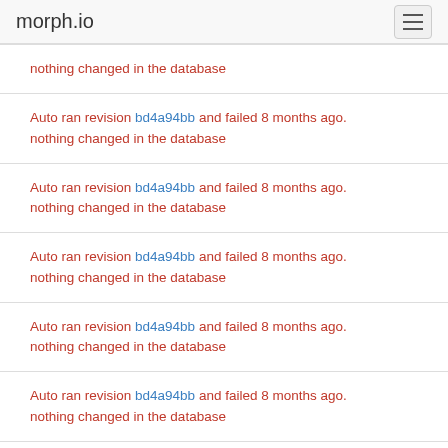morph.io
nothing changed in the database
Auto ran revision bd4a94bb and failed 8 months ago.
nothing changed in the database
Auto ran revision bd4a94bb and failed 8 months ago.
nothing changed in the database
Auto ran revision bd4a94bb and failed 8 months ago.
nothing changed in the database
Auto ran revision bd4a94bb and failed 8 months ago.
nothing changed in the database
Auto ran revision bd4a94bb and failed 8 months ago.
nothing changed in the database
Auto ran revision bd4a94bb and failed 8 months ago.
nothing changed in the database